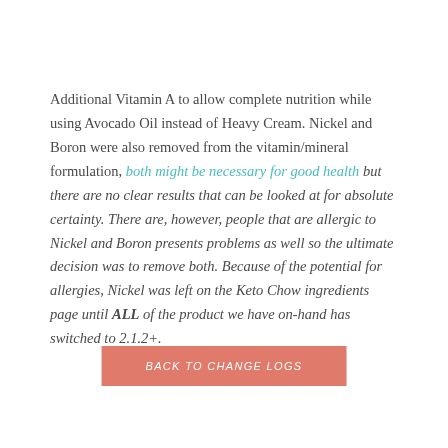Additional Vitamin A to allow complete nutrition while using Avocado Oil instead of Heavy Cream. Nickel and Boron were also removed from the vitamin/mineral formulation, both might be necessary for good health but there are no clear results that can be looked at for absolute certainty. There are, however, people that are allergic to Nickel and Boron presents problems as well so the ultimate decision was to remove both. Because of the potential for allergies, Nickel was left on the Keto Chow ingredients page until ALL of the product we have on-hand has switched to 2.1.2+.
BACK TO CHANGE LOGS